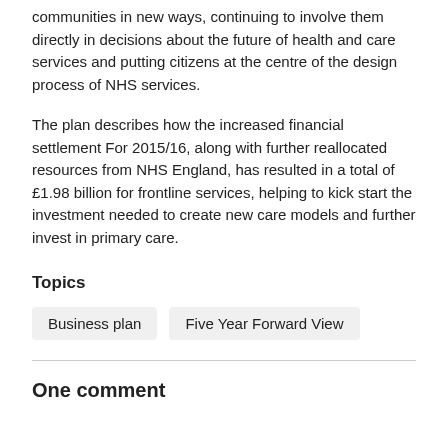communities in new ways, continuing to involve them directly in decisions about the future of health and care services and putting citizens at the centre of the design process of NHS services.
The plan describes how the increased financial settlement For 2015/16, along with further reallocated resources from NHS England, has resulted in a total of £1.98 billion for frontline services, helping to kick start the investment needed to create new care models and further invest in primary care.
Topics
Business plan
Five Year Forward View
One comment